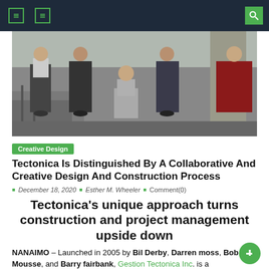navigation header with icons
[Figure (photo): Group of people standing/crouching on outdoor steps in front of a concrete structure]
Creative Design
Tectonica Is Distinguished By A Collaborative And Creative Design And Construction Process
December 18, 2020  Esther M. Wheeler  Comment(0)
Tectonica's unique approach turns construction and project management upside down
NANAIMO – Launched in 2005 by Bil Derby, Darren moss, Bob Mousse, and Barry fairbank, Gestion Tectonica Inc. is a